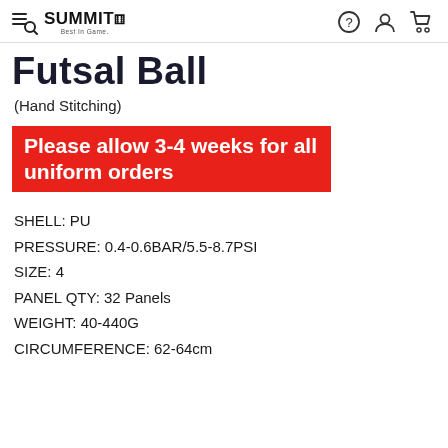SUMMIT Best In Game.
Futsal Ball
(Hand Stitching)
Please allow 3-4 weeks for all uniform orders
SHELL: PU
PRESSURE: 0.4-0.6BAR/5.5-8.7PSI
SIZE: 4
PANEL QTY: 32 Panels
WEIGHT: 40-440G
CIRCUMFERENCE: 62-64cm